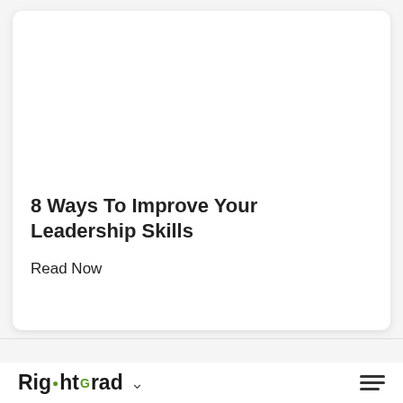[Figure (photo): Photo of multiple yellow origami paper boats with one red/dark red paper boat leading them on a white surface]
8 Ways To Improve Your Leadership Skills
Read Now
RightGrad